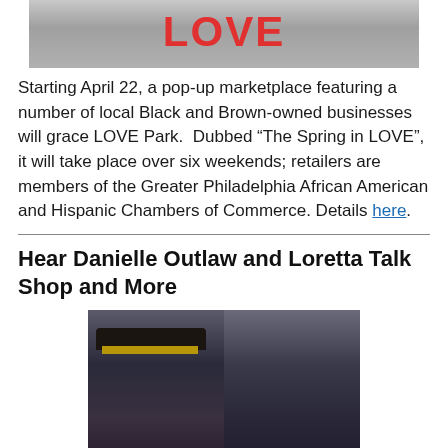[Figure (photo): Partial photo of LOVE Park sculpture with red LOVE letters visible against a light background]
Starting April 22, a pop-up marketplace featuring a number of local Black and Brown-owned businesses will grace LOVE Park.  Dubbed “The Spring in LOVE”, it will take place over six weekends; retailers are members of the Greater Philadelphia African American and Hispanic Chambers of Commerce. Details here.
Hear Danielle Outlaw and Loretta Talk Shop and More
[Figure (photo): Philadelphia Police Commissioner Danielle Outlaw (left) in police uniform with cap, and former U.S. Attorney Loretta Lynch (right) in dark clothing, side by side]
Philadelphia Police Commissioner Danielle Outlaw (pictured left) joined former U.S. Attorney